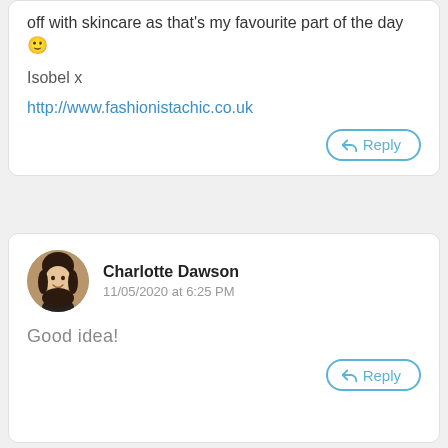off with skincare as that's my favourite part of the day 🙂
Isobel x
http://www.fashionistachic.co.uk
Reply
Charlotte Dawson
11/05/2020 at 6:25 PM
Good idea!
Reply